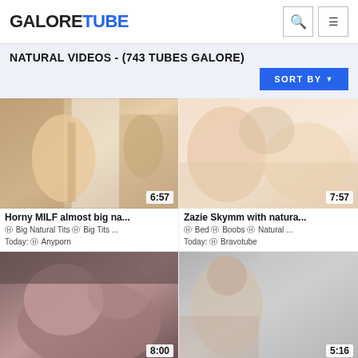GALORETUBE
NATURAL VIDEOS - (743 TUBES GALORE)
[Figure (screenshot): Video thumbnail 1 with duration 6:57 - Horny MILF almost big na...]
Horny MILF almost big na...
⊙ Big Natural Tits ⊙ Big Tits ...
Today: ⊙ Anyporn
[Figure (screenshot): Video thumbnail 2 with duration 7:57 - Zazie Skymm with natura...]
Zazie Skymm with natura...
⊙ Bed ⊙ Boobs ⊙ Natural ...
Today: ⊙ Bravotube
[Figure (screenshot): Video thumbnail 3 with duration 8:00]
[Figure (screenshot): Video thumbnail 4 with duration 5:16]